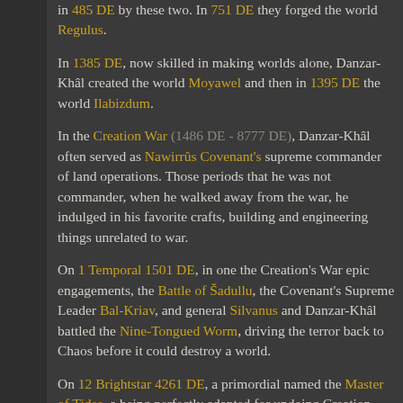in 485 DE by these two. In 751 DE they forged the world Regulus.
In 1385 DE, now skilled in making worlds alone, Danzar-Khâl created the world Moyawel and then in 1395 DE the world Ilabizdum.
In the Creation War (1486 DE - 8777 DE), Danzar-Khâl often served as Nawirrûs Covenant's supreme commander of land operations. Those periods that he was not commander, when he walked away from the war, he indulged in his favorite crafts, building and engineering things unrelated to war.
On 1 Temporal 1501 DE, in one the Creation's War epic engagements, the Battle of Šadullu, the Covenant's Supreme Leader Bal-Kriav, and general Silvanus and Danzar-Khâl battled the Nine-Tongued Worm, driving the terror back to Chaos before it could destroy a world.
On 12 Brightstar 4261 DE, a primordial named the Master of Tides, a being perfectly adapted for undoing Creation, was faced down by Bruh Krenjik...